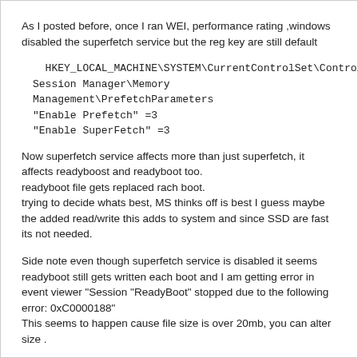As I posted before, once I ran WEI, performance rating ,windows disabled the superfetch service but the reg key are still default
HKEY_LOCAL_MACHINE\SYSTEM\CurrentControlSet\Control\Session Manager\Memory Management\PrefetchParameters
"Enable Prefetch" =3
"Enable SuperFetch" =3
Now superfetch service affects more than just superfetch, it affects readyboost and readyboot too.
readyboot file gets replaced rach boot.
trying to decide whats best, MS thinks off is best I guess maybe the added read/write this adds to system and since SSD are fast its not needed.
Side note even though superfetch service is disabled it seems readyboot still gets written each boot and I am getting error in event viewer "Session "ReadyBoot" stopped due to the following error: 0xC0000188"
This seems to happen cause file size is over 20mb, you can alter size .
http://forums.guru3d.com/showthread.php?t=318837